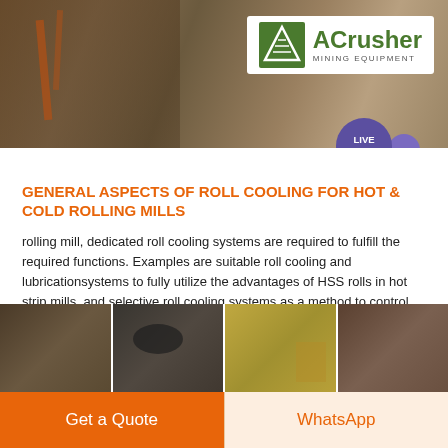[Figure (photo): Mining/crushing equipment facility with industrial machinery, orange metal structures. ACrusher Mining Equipment logo visible in top right corner.]
GENERAL ASPECTS OF ROLL COOLING FOR HOT & COLD ROLLING MILLS
rolling mill, dedicated roll cooling systems are required to fulfill the required functions. Examples are suitable roll cooling and lubricationsystems to fully utilize the advantages of HSS rolls in hot strip mills, and selective roll cooling systems as a method to control the flatness of the strip in cold rolling mills.
Get Price →
[Figure (photo): Bottom strip of mining/industrial site photos showing equipment and materials.]
Get a Quote | WhatsApp